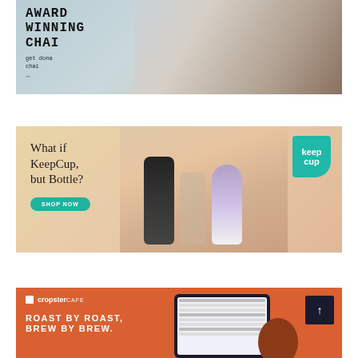[Figure (photo): Award Winning Chai advertisement banner with text overlay and product photo of Dona chai bottle with flowers and drinks]
[Figure (photo): KeepCup Bottle advertisement banner with serif text 'What if KeepCup, but Bottle?' and assorted bottles, teal SHOP NOW button and KeepCup logo]
[Figure (photo): Cropster Cafe advertisement banner with text 'ROAST BY ROAST, BREW BY BREW.' on orange background with tablet showing software interface]